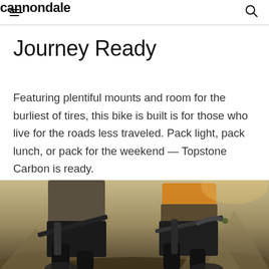cannondale
Journey Ready
Featuring plentiful mounts and room for the burliest of tires, this bike is built is for those who live for the roads less traveled. Pack light, pack lunch, or pack for the weekend — Topstone Carbon is ready.
[Figure (photo): Two cyclists riding gravel/road bikes viewed from behind at torso/leg level, wearing dark shorts, rocky terrain in background, warm golden-hour lighting]